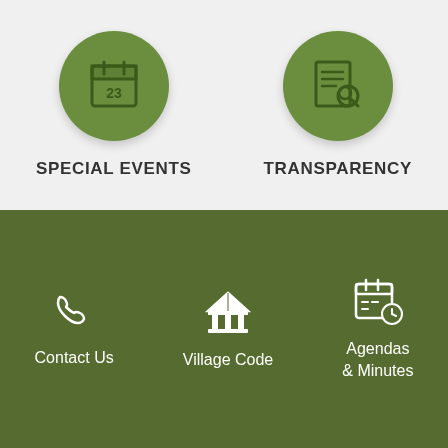[Figure (infographic): Green circle icon with calendar/date showing 23 for Special Events]
SPECIAL EVENTS
[Figure (infographic): Green circle icon with magnifying glass over document for Transparency]
TRANSPARENCY
[Figure (infographic): White phone icon on olive green background]
Contact Us
[Figure (infographic): White government building/bank icon on olive green background]
Village Code
[Figure (infographic): White calendar with clock icon on olive green background]
Agendas & Minutes